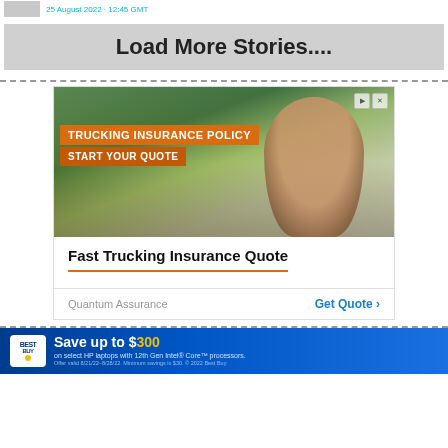25 August 2022 · 12:45 GMT
Load More Stories....
[Figure (photo): Advertisement: Trucking Insurance Policy - Start Your Quote. Photo of a smiling man in a plaid shirt and cap standing in front of semi trucks.]
Fast Trucking Insurance Quote
Quantum Assurance   Get Quote >
[Figure (infographic): Best Buy advertisement: Save up to $300 on select HP laptops with 12th Gen Intel Core processors.]